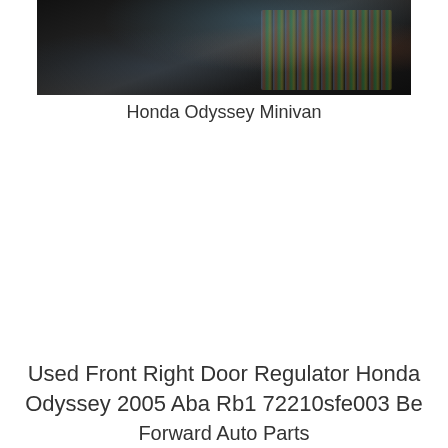[Figure (photo): Interior photo of a Honda Odyssey Minivan showing wiring/cables in a dark door cavity area with visible colored wires]
Honda Odyssey Minivan
Used Front Right Door Regulator Honda Odyssey 2005 Aba Rb1 72210sfe003 Be Forward Auto Parts